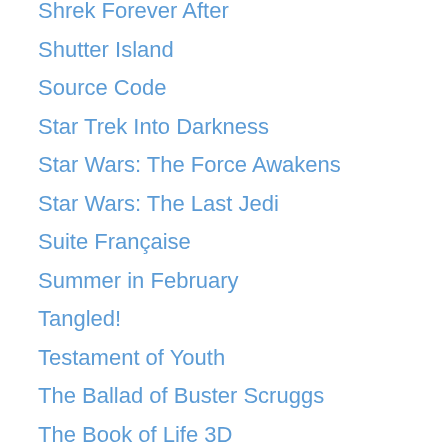Shrek Forever After
Shutter Island
Source Code
Star Trek Into Darkness
Star Wars: The Force Awakens
Star Wars: The Last Jedi
Suite Française
Summer in February
Tangled!
Testament of Youth
The Ballad of Buster Scruggs
The Book of Life 3D
The Book Thief
The Conspirator
The Debt
The Deep Blue Sea
The Dig
The Disaster Artist
The Duke
The Father